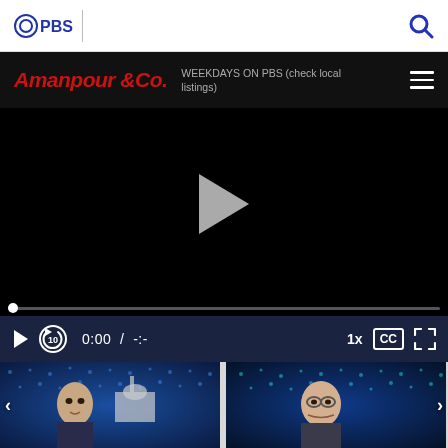[Figure (screenshot): PBS website header with PBS logo and search icon]
[Figure (screenshot): Amanpour & Co. show header bar with title, weekdays on PBS text, and hamburger menu]
[Figure (screenshot): Black video player with centered white play triangle button]
[Figure (screenshot): Video player controls bar showing play button, replay 10 button, time 0:00 / -:-, 1x speed, CC button, fullscreen button]
[Figure (screenshot): Two video thumbnail thumbnails showing TV news segments with left and right navigation arrows]